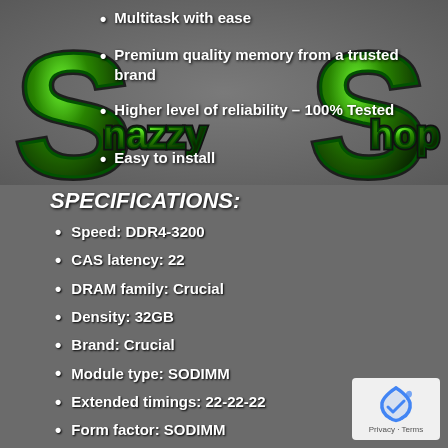[Figure (logo): SnazzyShop logo with large green 3D letters S and S with 'nazzy' and 'hop' text, dark background]
Multitask with ease
Premium quality memory from a trusted brand
Higher level of reliability – 100% Tested
Easy to install
SPECIFICATIONS:
Speed: DDR4-3200
CAS latency: 22
DRAM family: Crucial
Density: 32GB
Brand: Crucial
Module type: SODIMM
Extended timings: 22-22-22
Form factor: SODIMM